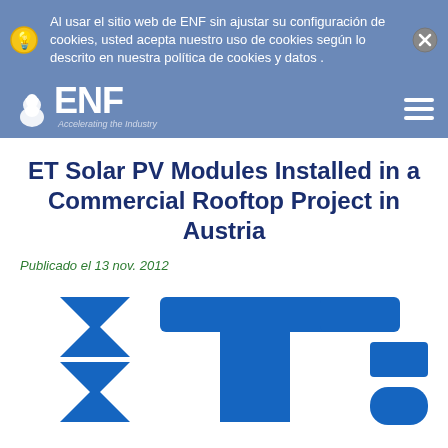Al usar el sitio web de ENF sin ajustar su configuración de cookies, usted acepta nuestro uso de cookies según lo descrito en nuestra política de cookies y datos .
ENF — Accelerating the Industry
ET Solar PV Modules Installed in a Commercial Rooftop Project in Austria
Publicado el 13 nov. 2012
[Figure (logo): ET Solar company logo in blue — large stylized letters ET Solar in blue angular shapes]